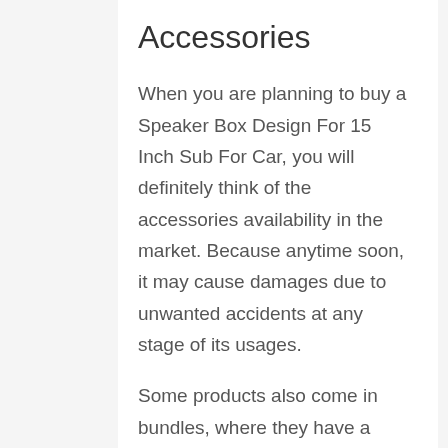Accessories
When you are planning to buy a Speaker Box Design For 15 Inch Sub For Car, you will definitely think of the accessories availability in the market. Because anytime soon, it may cause damages due to unwanted accidents at any stage of its usages.
Some products also come in bundles, where they have a combo package of the necessary items that you may need with it.
Colors